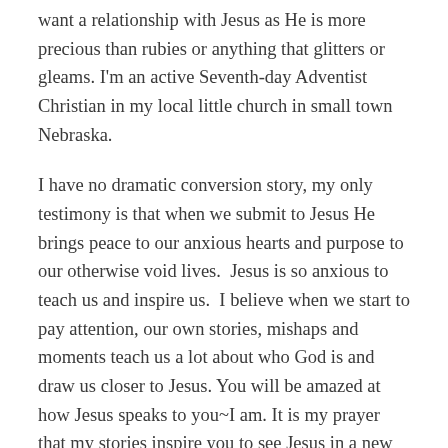want a relationship with Jesus as He is more precious than rubies or anything that glitters or gleams. I'm an active Seventh-day Adventist Christian in my local little church in small town Nebraska.
I have no dramatic conversion story, my only testimony is that when we submit to Jesus He brings peace to our anxious hearts and purpose to our otherwise void lives.  Jesus is so anxious to teach us and inspire us.  I believe when we start to pay attention, our own stories, mishaps and moments teach us a lot about who God is and draw us closer to Jesus. You will be amazed at how Jesus speaks to you~I am. It is my prayer that my stories inspire you to see Jesus in a new way.